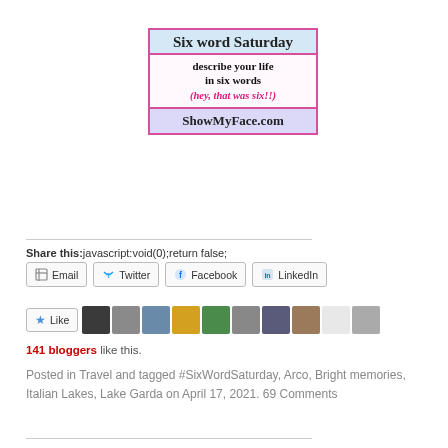[Figure (illustration): Six Word Saturday banner image from ShowMyFace.com — a decorative badge with pink border, light blue top section with 'Six word Saturday' in handwritten font, middle section with 'describe your life in six words' and pink italic 'hey, that was six!!' text, and lavender bottom section with 'ShowMyFace.com']
Share this:javascript:void(0);return false;
Email   Twitter   Facebook   LinkedIn
Like
141 bloggers like this.
Posted in Travel and tagged #SixWordSaturday, Arco, Bright memories, Italian Lakes, Lake Garda on April 17, 2021. 69 Comments